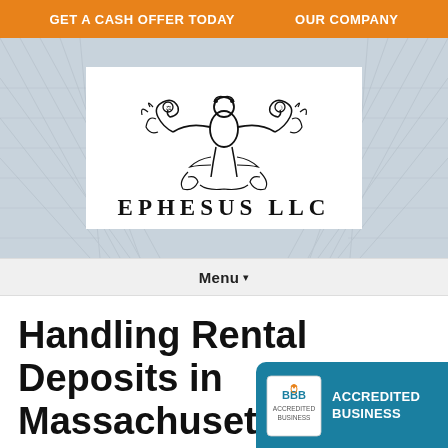GET A CASH OFFER TODAY   OUR COMPANY
[Figure (logo): Ephesus LLC logo — ornate figure with scrollwork, black ink on white background, with text 'EPHESUS LLC' below]
Menu ▾
Handling Rental Deposits in Massachusetts - Deductions and